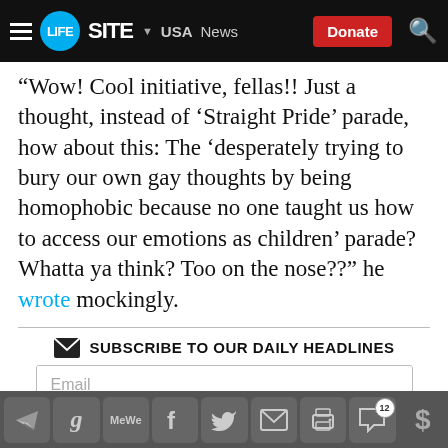LifeSite News — USA — Donate
“Wow! Cool initiative, fellas!! Just a thought, instead of ‘Straight Pride’ parade, how about this: The ‘desperately trying to bury our own gay thoughts by being homophobic because no one taught us how to access our emotions as children’ parade? Whatta ya think? Too on the nose??” he wrote mockingly.
SUBSCRIBE TO OUR DAILY HEADLINES
Email
SUBSCRIBE
US  Canada  World  Catholic